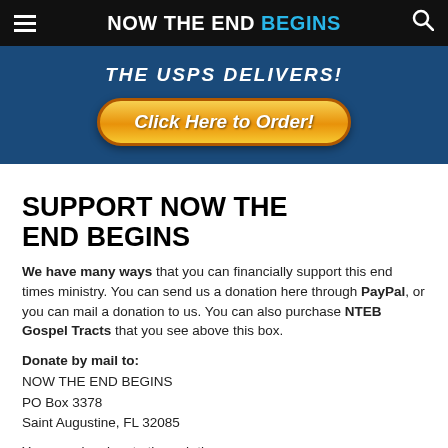NOW THE END BEGINS
[Figure (illustration): Blue banner ad showing 'THE USPS DELIVERS!' text and a gold 'Click Here to Order!' button]
SUPPORT NOW THE END BEGINS
We have many ways that you can financially support this end times ministry. You can send us a donation here through PayPal, or you can mail a donation to us. You can also purchase NTEB Gospel Tracts that you see above this box.
Donate by mail to:
NOW THE END BEGINS
PO Box 3378
Saint Augustine, FL 32085
You can also donate through the